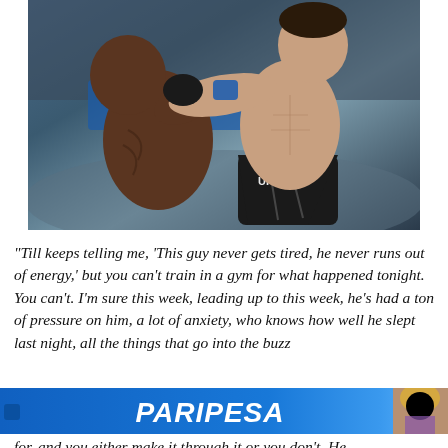[Figure (photo): Two UFC MMA fighters in action inside the octagon. A shirtless fighter on the right wearing black UFC shorts throws a punch at another fighter on the left. Both wear MMA gloves. UFC branding visible in background.]
“Till keeps telling me, ‘This guy never gets tired, he never runs out of energy,’ but you can’t train in a gym for what happened tonight. You can’t. I’m sure this week, leading up to this week, he’s had a ton of pressure on him, a lot of anxiety, who knows how well he slept last night, all the things that go into the buzz
[Figure (photo): PARIPESA advertisement banner in blue with white italic bold text reading PARIPESA, with a woman visible on the right side of the banner.]
for, and you either make it through it or you don’t. He